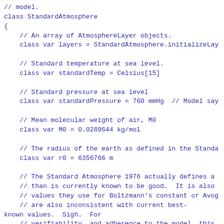// model.
class StandardAtmosphere
{
    // An array of AtmosphereLayer objects.
    class var layers = StandardAtmosphere.initializeLay

    // Standard temperature at sea level.
    class var standardTemp = Celsius[15]

    // Standard pressure at sea level
    class var standardPressure = 760 mmHg  // Model say

    // Mean molecular weight of air, M0
    class var M0 = 0.0289644 kg/mol

    // The radius of the earth as defined in the Standa
    class var r0 = 6356766 m

    // The Standard Atmosphere 1976 actually defines a
    // than is currently known to be good.  It is also
    // values they use for Boltzmann's constant or Avog
    // are also inconsistent with current best-
known values.  Sigh.  For
    // verifiability, and adherence to the model, this
    // Atmosphere's definition of the constants.  (The
known gas constant
    // is called "gasconstant" or "R" in Frink.)
    class var Rstar = 8.31432e+3 N*m/(kmol*K)